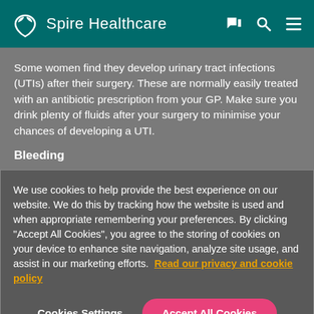Spire Healthcare
Some women find they develop urinary tract infections (UTIs) after their surgery. These are normally easily treated with an antibiotic prescription from your GP. Make sure you drink plenty of fluids after your surgery to minimise your chances of developing a UTI.
Bleeding
We use cookies to help provide the best experience on our website. We do this by tracking how the website is used and when appropriate remembering your preferences. By clicking "Accept All Cookies", you agree to the storing of cookies on your device to enhance site navigation, analyze site usage, and assist in our marketing efforts. Read our privacy and cookie policy
Cookies Settings
Accept All Cookies